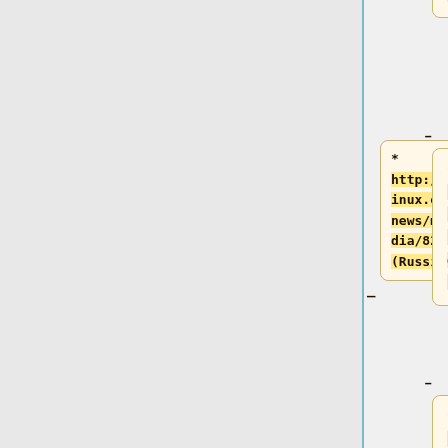* html?
num=34812
(Russian)
* http://www.linux.org.ru/news/multimedia/8221347
(Russian)
* http://www.zdnet.de/88123034/ietf-verabschiedet-lizenzfreien-online-audio-standard-opus/
(German)